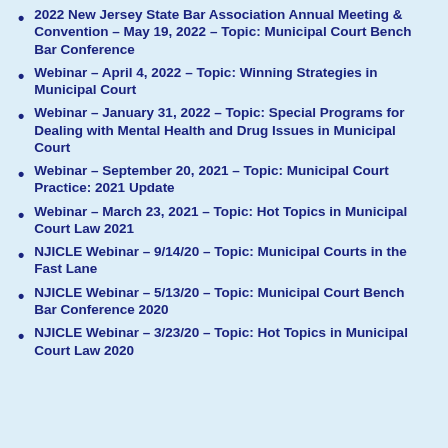2022 New Jersey State Bar Association Annual Meeting & Convention – May 19, 2022 – Topic: Municipal Court Bench Bar Conference
Webinar – April 4, 2022 – Topic: Winning Strategies in Municipal Court
Webinar – January 31, 2022 – Topic: Special Programs for Dealing with Mental Health and Drug Issues in Municipal Court
Webinar – September 20, 2021 – Topic: Municipal Court Practice: 2021 Update
Webinar – March 23, 2021 – Topic: Hot Topics in Municipal Court Law 2021
NJICLE Webinar – 9/14/20 – Topic: Municipal Courts in the Fast Lane
NJICLE Webinar – 5/13/20 – Topic: Municipal Court Bench Bar Conference 2020
NJICLE Webinar – 3/23/20 – Topic: Hot Topics in Municipal Court Law 2020